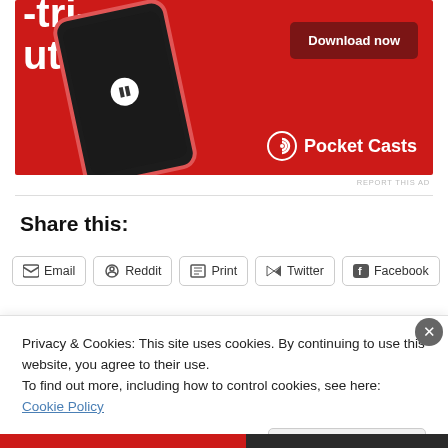[Figure (illustration): Pocket Casts app advertisement banner with a smartphone showing a podcast app on a red background, with 'Download now' button and Pocket Casts logo]
REPORT THIS AD
Share this:
Email
Reddit
Print
Twitter
Facebook
Privacy & Cookies: This site uses cookies. By continuing to use this website, you agree to their use.
To find out more, including how to control cookies, see here: Cookie Policy
Close and accept